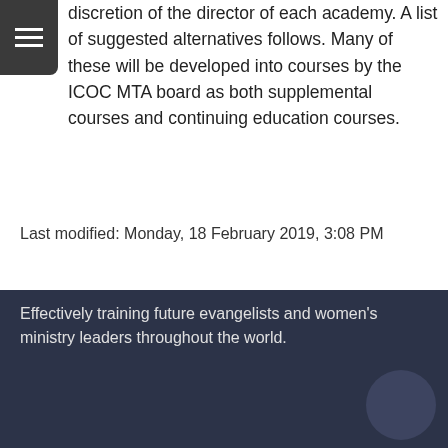discretion of the director of each academy. A list of suggested alternatives follows. Many of these will be developed into courses by the ICOC MTA board as both supplemental courses and continuing education courses.
Last modified: Monday, 18 February 2019, 3:08 PM
◄ Certificate Requirements
Jump to...
Formatting Requirements ►
Effectively training future evangelists and women's ministry leaders throughout the world.